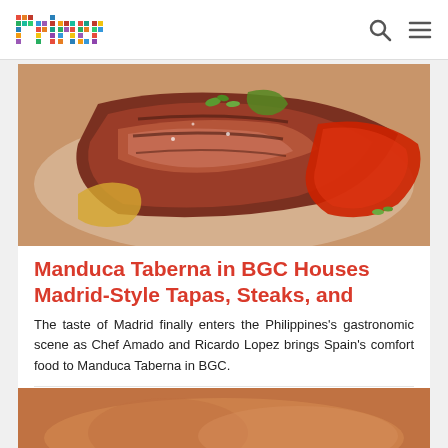primer
[Figure (photo): Close-up photo of sliced grilled steak with roasted red peppers, garnished with green herbs on a white plate.]
Manduca Taberna in BGC Houses Madrid-Style Tapas, Steaks, and
The taste of Madrid finally enters the Philippines's gastronomic scene as Chef Amado and Ricardo Lopez brings Spain's comfort food to Manduca Taberna in BGC.
TAGS: Taguig  Bar and Resto  Bonifacio Global City  Wine Bar  Bar and Resto  Wine Bar
[Figure (photo): Partially visible food photograph with warm orange/brown tones at the bottom of the page.]